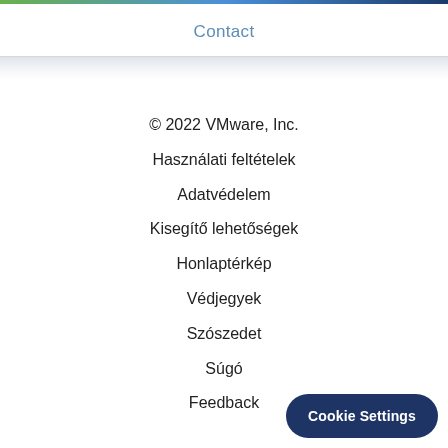Contact
© 2022 VMware, Inc.
Használati feltételek
Adatvédelem
Kisegítő lehetőségek
Honlaptérkép
Védjegyek
Szószedet
Súgó
Feedback
Cookie Settings